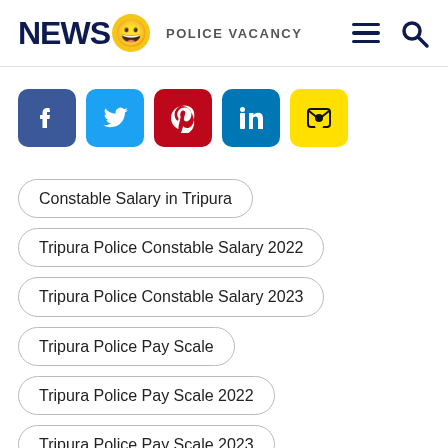NEWS 😀 POLICE VACANCY
[Figure (other): Social media share buttons: Facebook, Twitter, Pinterest, LinkedIn, Email]
Constable Salary in Tripura
Tripura Police Constable Salary 2022
Tripura Police Constable Salary 2023
Tripura Police Pay Scale
Tripura Police Pay Scale 2022
Tripura Police Pay Scale 2023